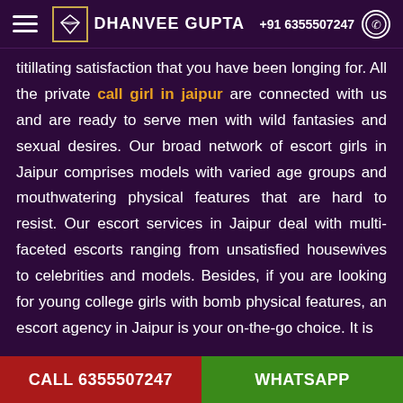DHANVEE GUPTA | +91 6355507247
titillating satisfaction that you have been longing for. All the private call girl in jaipur are connected with us and are ready to serve men with wild fantasies and sexual desires. Our broad network of escort girls in Jaipur comprises models with varied age groups and mouthwatering physical features that are hard to resist. Our escort services in Jaipur deal with multi-faceted escorts ranging from unsatisfied housewives to celebrities and models. Besides, if you are looking for young college girls with bomb physical features, an escort agency in Jaipur is your on-the-go choice. It is
CALL 6355507247 | WHATSAPP